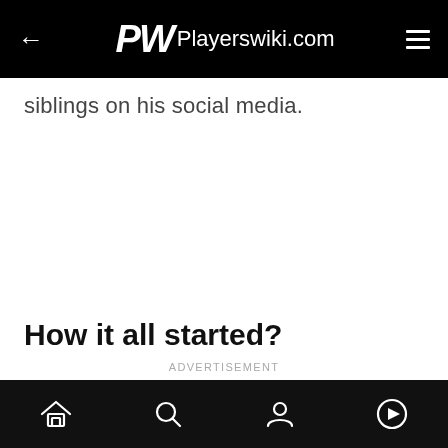Playerswiki.com
siblings on his social media.
How it all started?
ADVERTISEMENT
Home | Search | Profile | Play